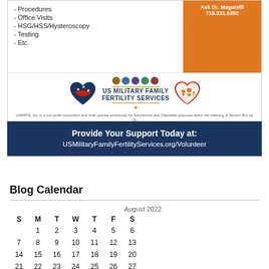- Procedures
- Office Visits
- HSG/HSS/Hysteroscopy
- Testing
- Etc.
[Figure (logo): US Military Family Fertility Services logo with patriotic heart on left, military badges, and family heart on right]
USMPFS, Inc. is a non-profit corporation and shall operate exclusively for Educational and Charitable purposes within the meaning of Section 501 (a) (3) of the Internal Revenue Code, or the corresponding section of any future Federal tax code.
Provide Your Support Today at: USMilitaryFamilyFertilityServices.org/Volunteer
Blog Calendar
| S | M | T | W | T | F | S |
| --- | --- | --- | --- | --- | --- | --- |
|  | 1 | 2 | 3 | 4 | 5 | 6 |
| 7 | 8 | 9 | 10 | 11 | 12 | 13 |
| 14 | 15 | 16 | 17 | 18 | 19 | 20 |
| 21 | 22 | 23 | 24 | 25 | 26 | 27 |